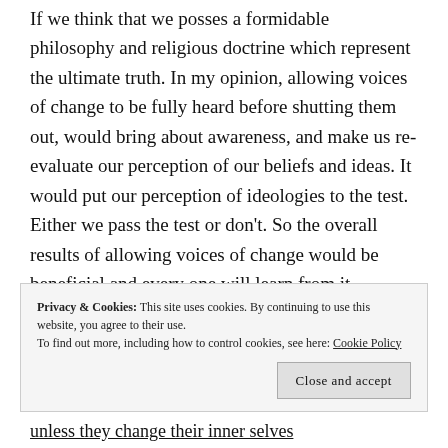If we think that we posses a formidable philosophy and religious doctrine which represent the ultimate truth. In my opinion, allowing voices of change to be fully heard before shutting them out, would bring about awareness, and make us re-evaluate our perception of our beliefs and ideas. It would put our perception of ideologies to the test. Either we pass the test or don't. So the overall results of allowing voices of change would be beneficial and every one will learn from it. The holy Quran refer to this fact of change and makes it the principle factor of change in society and considers it to be the fundamental principle of progress and the
Privacy & Cookies: This site uses cookies. By continuing to use this website, you agree to their use. To find out more, including how to control cookies, see here: Cookie Policy
unless they change their inner selves